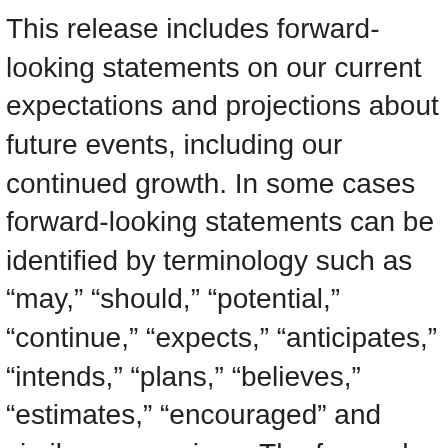This release includes forward-looking statements on our current expectations and projections about future events, including our continued growth. In some cases forward-looking statements can be identified by terminology such as “may,” “should,” “potential,” “continue,” “expects,” “anticipates,” “intends,” “plans,” “believes,” “estimates,” “encouraged” and similar expressions. The forward looking statements include statements regarding our expected future growth, international expansion and improved profit. These statements are based upon current beliefs, expectations and